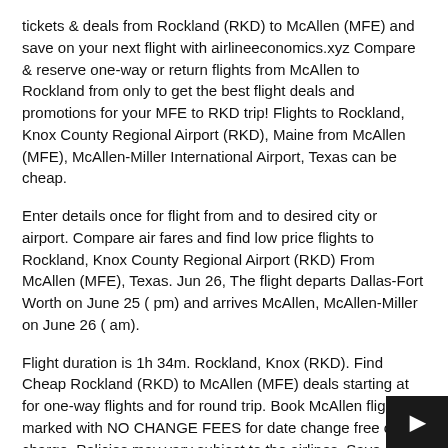tickets & deals from Rockland (RKD) to McAllen (MFE) and save on your next flight with airlineeconomics.xyz Compare & reserve one-way or return flights from McAllen to Rockland from only to get the best flight deals and promotions for your MFE to RKD trip! Flights to Rockland, Knox County Regional Airport (RKD), Maine from McAllen (MFE), McAllen-Miller International Airport, Texas can be cheap.
Enter details once for flight from and to desired city or airport. Compare air fares and find low price flights to Rockland, Knox County Regional Airport (RKD) From McAllen (MFE), Texas. Jun 26, The flight departs Dallas-Fort Worth on June 25 ( pm) and arrives McAllen, McAllen-Miller on June 26 ( am).
Flight duration is 1h 34m. Rockland, Knox (RKD). Find Cheap Rockland (RKD) to McAllen (MFE) deals starting at for one-way flights and for round trip. Book McAllen flights marked with NO CHANGE FEES for date change free of charge. Policies may vary subject to the airlines. Save on your next flight with Expedia.
Find cheap flights from Rockland (RKD) to McAllen (MFE) from only. With COVID situation, few airlines are offering waiving